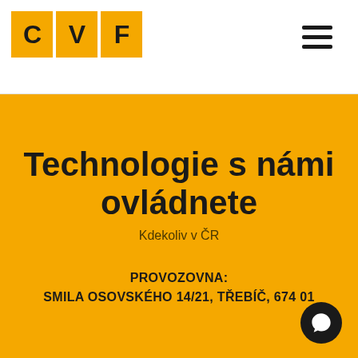[Figure (logo): CVF logo with three orange squares each containing a bold black letter C, V, F]
Technologie s námi ovládnete
Kdekoliv v ČR
PROVOZOVNA:
SMILA OSOVSKÉHO 14/21, TŘEBÍČ, 674 01